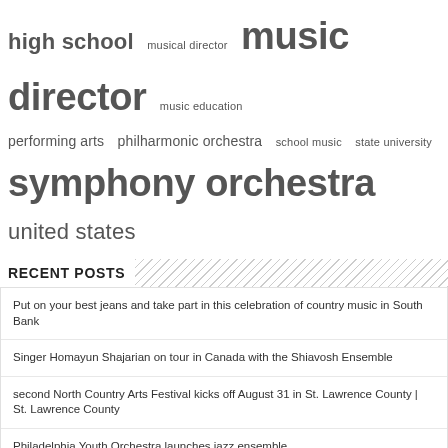high school musical director music director music education performing arts philharmonic orchestra school music state university symphony orchestra united states
RECENT POSTS
Put on your best jeans and take part in this celebration of country music in South Bank
Singer Homayun Shajarian on tour in Canada with the Shiavosh Ensemble
second North Country Arts Festival kicks off August 31 in St. Lawrence County | St. Lawrence County
Philadelphia Youth Orchestra launches jazz ensemble
At Lake Caroga, Aucoin leads the entire festival in an entertaining program – The Daily Gazette
ARCHIVES
August 2022